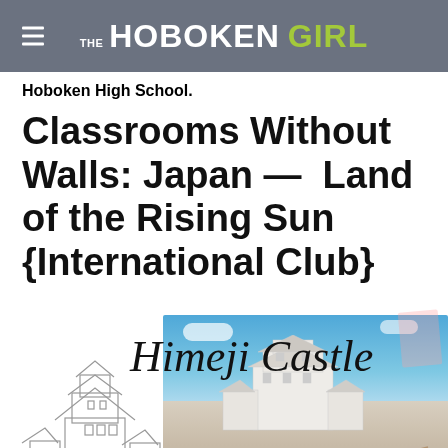THE HOBOKEN GIRL
Hoboken High School.
Classrooms Without Walls: Japan — Land of the Rising Sun {International Club}
[Figure (photo): Photo of Himeji Castle with blue sky and cherry blossoms, overlaid with handwritten text 'Himeji Castle', a pencil sketch of the castle on the left side, and a pink tape decoration in the upper right corner]